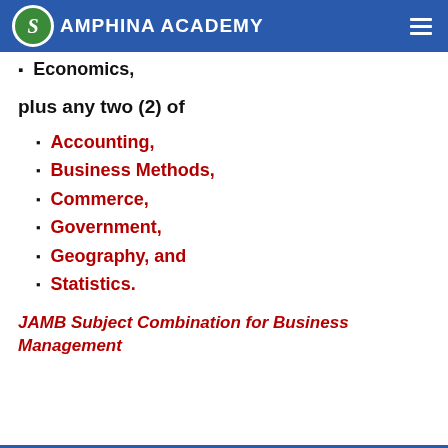SAMPHINA ACADEMY
Economics,
plus any two (2) of
Accounting,
Business Methods,
Commerce,
Government,
Geography, and
Statistics.
JAMB Subject Combination for Business Management